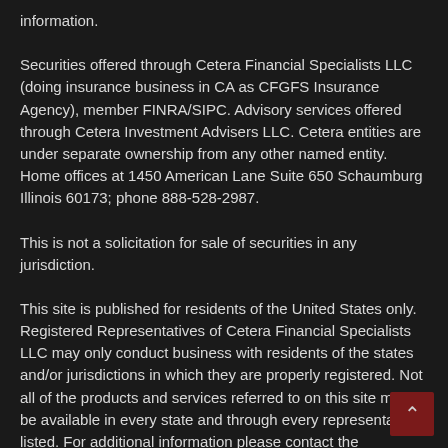information.
Securities offered through Cetera Financial Specialists LLC (doing insurance business in CA as CFGFS Insurance Agency), member FINRA/SIPC. Advisory services offered through Cetera Investment Advisers LLC. Cetera entities are under separate ownership from any other named entity. Home offices at 1450 American Lane Suite 650 Schaumburg Illinois 60173; phone 888-528-2987.
This is not a solicitation for sale of securities in any jurisdiction.
This site is published for residents of the United States only. Registered Representatives of Cetera Financial Specialists LLC may only conduct business with residents of the states and/or jurisdictions in which they are properly registered. Not all of the products and services refe on this site may be available in every state and through every representative listed. For additional information please contact the